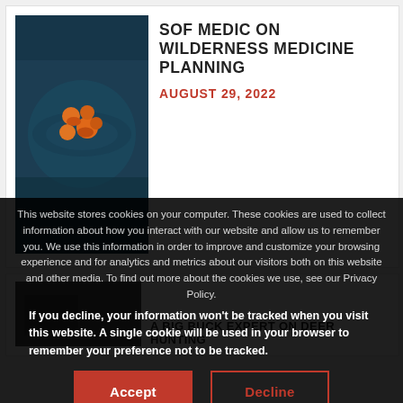[Figure (photo): Aerial view of people in orange life vests on dark water, viewed from above]
SOF MEDIC ON WILDERNESS MEDICINE PLANNING
AUGUST 29, 2022
[Figure (photo): Partially visible dark outdoor/hunting photo]
A BIG BUCK EXPERT ON DEER HUNTING
This website stores cookies on your computer. These cookies are used to collect information about how you interact with our website and allow us to remember you. We use this information in order to improve and customize your browsing experience and for analytics and metrics about our visitors both on this website and other media. To find out more about the cookies we use, see our Privacy Policy.
If you decline, your information won't be tracked when you visit this website. A single cookie will be used in your browser to remember your preference not to be tracked.